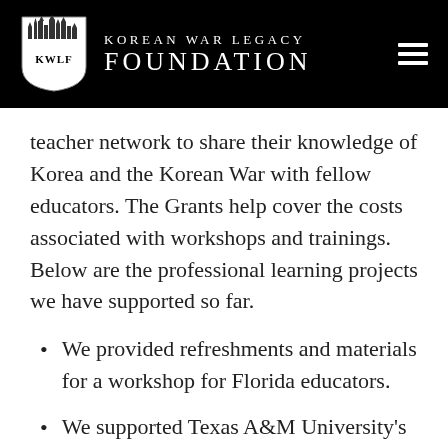KOREAN WAR LEGACY FOUNDATION
teacher network to share their knowledge of Korea and the Korean War with fellow educators. The Grants help cover the costs associated with workshops and trainings. Below are the professional learning projects we have supported so far.
We provided refreshments and materials for a workshop for Florida educators.
We supported Texas A&M University's Korean War Pre-Service Teacher